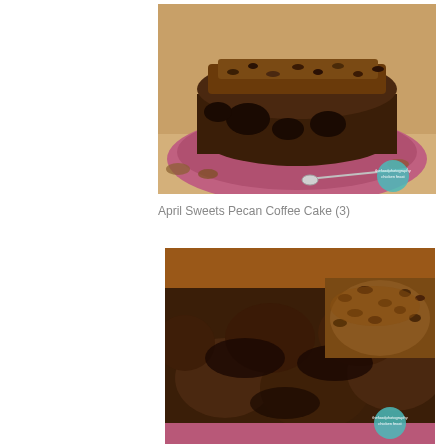[Figure (photo): Close-up photograph of a chocolate pecan coffee cake (bundt cake) on a pink/purple plate with a serving spoon, surrounded by pecans and drizzled with chocolate glaze. Watermark visible in bottom right corner.]
April Sweets Pecan Coffee Cake (3)
[Figure (photo): Close-up photograph showing the top of a chocolate pecan coffee cake with caramelized pecans and chocolate glaze on a pink/purple plate. Watermark visible in bottom right corner.]